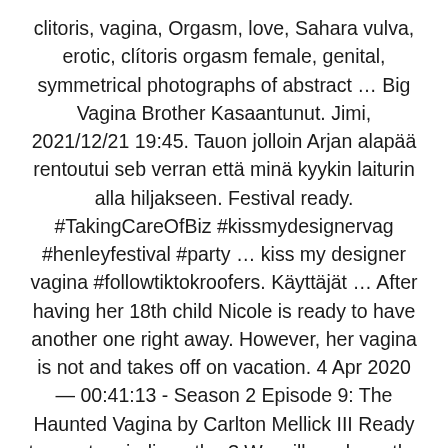clitoris, vagina, Orgasm, love, Sahara vulva, erotic, clítoris orgasm female, genital, symmetrical photographs of abstract … Big Vagina Brother Kasaantunut. Jimi, 2021/12/21 19:45. Tauon jolloin Arjan alapää rentoutui seb verran että minä kyykin laiturin alla hiljakseen. Festival ready. #TakingCareOfBiz #kissmydesignervag #henleyfestival #party … kiss my designer vagina #followtiktokroofers. Käyttäjät … After having her 18th child Nicole is ready to have another one right away. However, her vagina is not and takes off on vacation. 4 Apr 2020 — 00:41:13 - Season 2 Episode 9: The Haunted Vagina by Carlton Mellick III Ready to meet an indie author? We will read you the first chapter. Vagina kakut - vauva suihku suuntaus kukaan ei pyytänyt. … Gettin ready for Jenn and